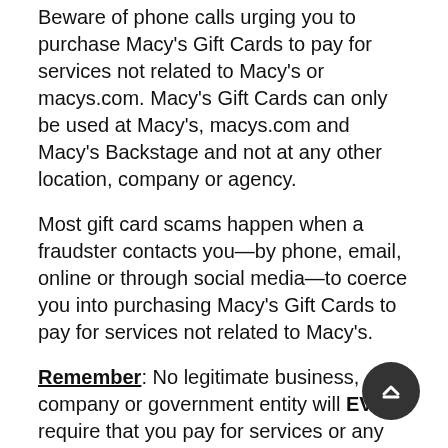Beware of phone calls urging you to purchase Macy's Gift Cards to pay for services not related to Macy's or macys.com. Macy's Gift Cards can only be used at Macy's, macys.com and Macy's Backstage and not at any other location, company or agency.
Most gift card scams happen when a fraudster contacts you—by phone, email, online or through social media—to coerce you into purchasing Macy's Gift Cards to pay for services not related to Macy's.
Remember: No legitimate business, company or government entity will EVER require that you pay for services or any other transaction with a Macy's Gift Card (or any other gift card). This includes:
IRS
FBI
The Treasury Department